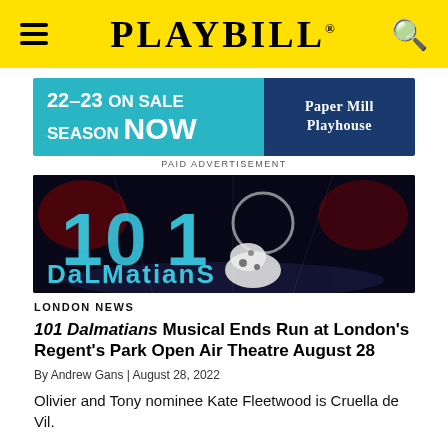PLAYBILL
[Figure (infographic): Paper Mill Playhouse advertisement banner: '22-23 SEASON ON SALE NOW' on teal background, 'PAPER MILL PLAYHOUSE' on dark blue background]
PAID ADVERTISEMENT
[Figure (photo): Stage production photo of 101 Dalmatians musical showing illuminated '101 Dalmatians' lettering on a dark stage with a performer in a spotted costume]
LONDON NEWS
101 Dalmatians Musical Ends Run at London's Regent's Park Open Air Theatre August 28
By Andrew Gans | August 28, 2022
Olivier and Tony nominee Kate Fleetwood is Cruella de Vil.